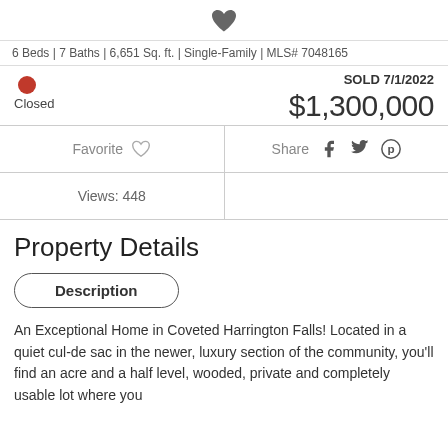[Figure (illustration): Dark grey filled heart icon]
6 Beds | 7 Baths | 6,651 Sq. ft. | Single-Family | MLS# 7048165
Closed
SOLD 7/1/2022
$1,300,000
Favorite   Share
Views: 448
Property Details
Description
An Exceptional Home in Coveted Harrington Falls! Located in a quiet cul-de sac in the newer, luxury section of the community, you'll find an acre and a half level, wooded, private and completely usable lot where you